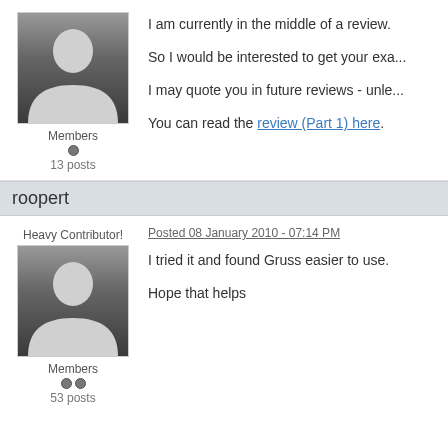[Figure (photo): Default avatar silhouette for first user, gradient gray background]
Members
• 
13 posts
I am currently in the middle of a review.

So I would be interested to get your exa...

I may quote you in future reviews - unle...

You can read the review (Part 1) here.
roopert
Heavy Contributor!
Posted 08 January 2010 - 07:14 PM
[Figure (photo): Default avatar silhouette for roopert, gradient gray background]
Members
•• 
53 posts
I tried it and found Gruss easier to use.

Hope that helps